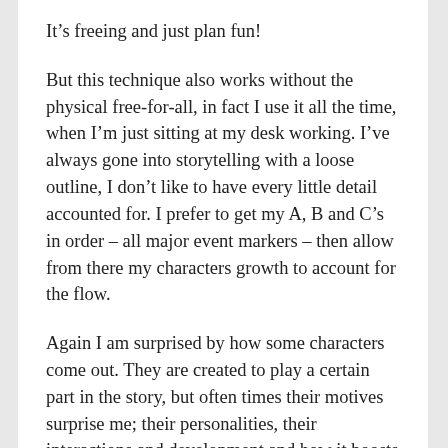It’s freeing and just plan fun!
But this technique also works without the physical free-for-all, in fact I use it all the time, when I’m just sitting at my desk working. I’ve always gone into storytelling with a loose outline, I don’t like to have every little detail accounted for. I prefer to get my A, B and C’s in order – all major event markers – then allow from there my characters growth to account for the flow.
Again I am surprised by how some characters come out. They are created to play a certain part in the story, but often times their motives surprise me; their personalities, their interactions and development and how it boosts the impact of the main events.